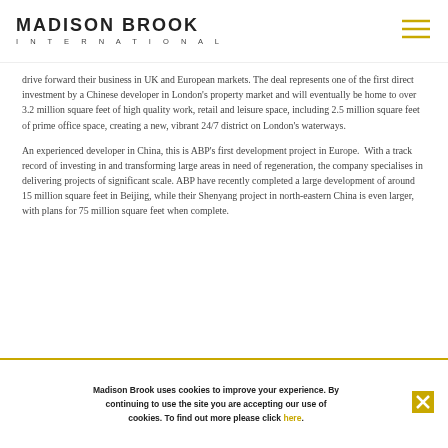MADISON BROOK INTERNATIONAL
drive forward their business in UK and European markets. The deal represents one of the first direct investment by a Chinese developer in London's property market and will eventually be home to over 3.2 million square feet of high quality work, retail and leisure space, including 2.5 million square feet of prime office space, creating a new, vibrant 24/7 district on London's waterways.
An experienced developer in China, this is ABP's first development project in Europe.  With a track record of investing in and transforming large areas in need of regeneration, the company specialises in delivering projects of significant scale. ABP have recently completed a large development of around 15 million square feet in Beijing, while their Shenyang project in north-eastern China is even larger, with plans for 75 million square feet when complete.
Madison Brook uses cookies to improve your experience. By continuing to use the site you are accepting our use of cookies. To find out more please click here.